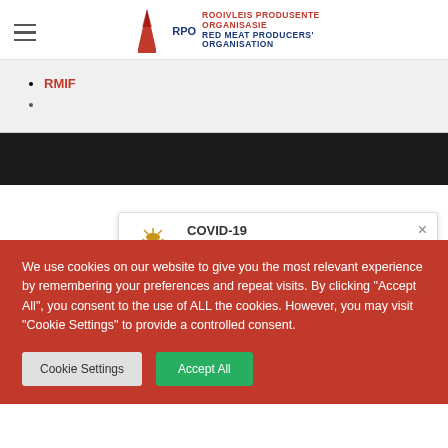RPO - ROOIVLEIS PRODUSENTE ORGANISASIE / RED MEAT PRODUCERS' ORGANISATION
RMIF
[Figure (screenshot): COVID-19 notification banner with South African government emblem, title COVID-19, subtitle Stay informed with official news & stats, and a close button]
We use cookies on our website to give you the most relevant experience by remembering your preferences and repeat visits. By clicking "Accept All", you consent to the use of ALL the cookies. However, you may visit "Cookie Settings" to provide a controlled consent.
Cookie Settings   Accept All